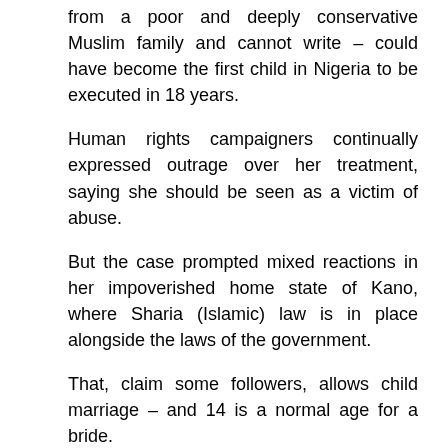from a poor and deeply conservative Muslim family and cannot write – could have become the first child in Nigeria to be executed in 18 years.
Human rights campaigners continually expressed outrage over her treatment, saying she should be seen as a victim of abuse.
But the case prompted mixed reactions in her impoverished home state of Kano, where Sharia (Islamic) law is in place alongside the laws of the government.
That, claim some followers, allows child marriage – and 14 is a normal age for a bride.
Read more:
NOTE: No, Daily Mail, it's not that some Muslims claim, it's in fact, de facto Islamic law.
Share this: